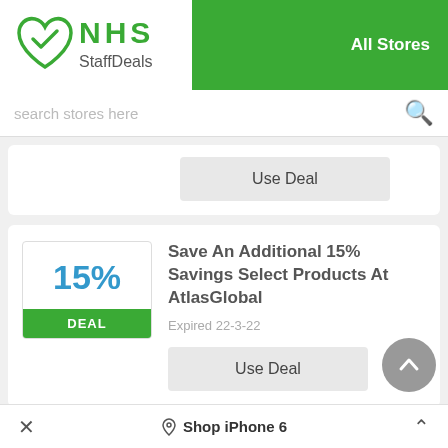[Figure (logo): NHS StaffDeals logo — green heart with checkmark and green text 'NHS StaffDeals']
All Stores
search stores here
Use Deal
Save An Additional 15% Savings Select Products At AtlasGlobal
Expired 22-3-22
Use Deal
Shop iPhone 6